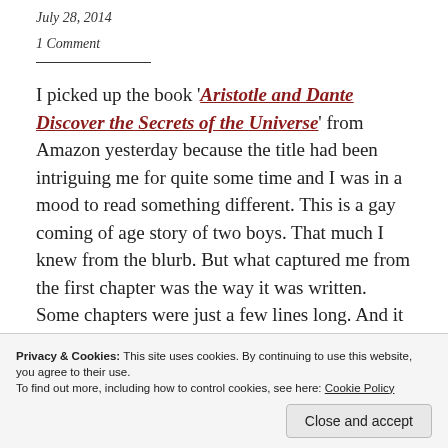July 28, 2014
1 Comment
I picked up the book 'Aristotle and Dante Discover the Secrets of the Universe' from Amazon yesterday because the title had been intriguing me for quite some time and I was in a mood to read something different. This is a gay coming of age story of two boys. That much I knew from the blurb. But what captured me from the first chapter was the way it was written. Some chapters were just a few lines long. And it never exceeded more than 2 pages per chapter. It
Privacy & Cookies: This site uses cookies. By continuing to use this website, you agree to their use. To find out more, including how to control cookies, see here: Cookie Policy
to know each other and in the process get to know